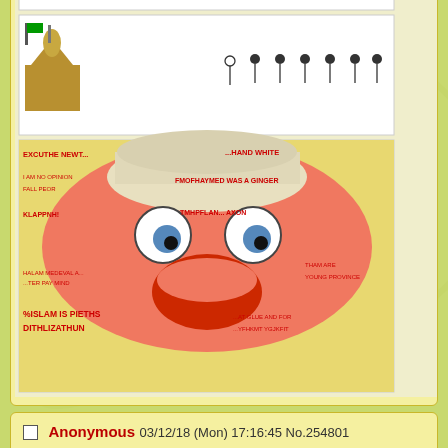[Figure (screenshot): Comic strip showing mosque and stick figures, followed by colorful meme face image]
Anonymous 03/12/18 (Mon) 17:16:45 No.254801
>>254798
late 1600's early 1700s is the oldest shit here. stuff in yurop asia is insane.
Anonymous 03/12/18 (Mon) 17:24:34 No.254802
File: 15208875473934.png (255.51 KB, 450x450, 1482969233107.png)
ImgOps Google